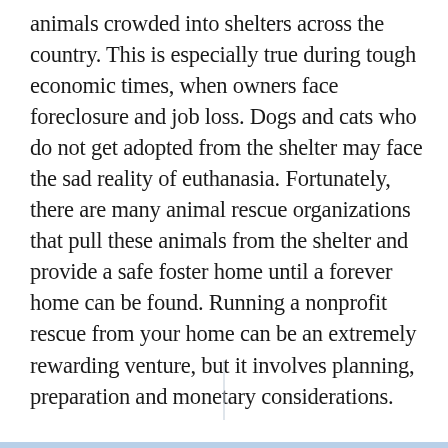animals crowded into shelters across the country. This is especially true during tough economic times, when owners face foreclosure and job loss. Dogs and cats who do not get adopted from the shelter may face the sad reality of euthanasia. Fortunately, there are many animal rescue organizations that pull these animals from the shelter and provide a safe foster home until a forever home can be found. Running a nonprofit rescue from your home can be an extremely rewarding venture, but it involves planning, preparation and monetary considerations.